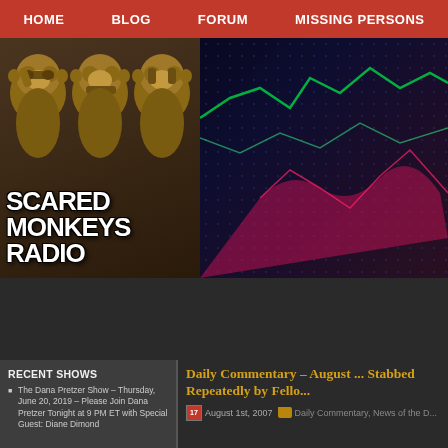HOME   BLOG   FORUM   MISSING PERSONS
[Figure (screenshot): Scared Monkeys Radio banner: three wise monkeys bronze statues on left with 'SCARED MONKEYS RADIO' text overlay; right side shows a dark blue/purple grid background with green and red line chart lines.]
RECENT SHOWS
The Dana Pretzer Show – Thursday, June 20, 2019 – Please Join Dana Pretzer Tonight at 9 PM ET with Special Guest: Diane Dimond
Daily Commentary – August ... Stabbed Repeatedly by Fello...
August 1st, 2007   Daily Commentary, News of the D...